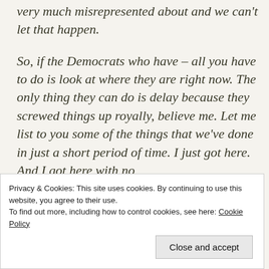very much misrepresented about and we can't let that happen.
So, if the Democrats who have – all you have to do is look at where they are right now. The only thing they can do is delay because they screwed things up royally, believe me. Let me list to you some of the things that we've done in just a short period of time. I just got here. And I got here with no
Privacy & Cookies: This site uses cookies. By continuing to use this website, you agree to their use. To find out more, including how to control cookies, see here: Cookie Policy